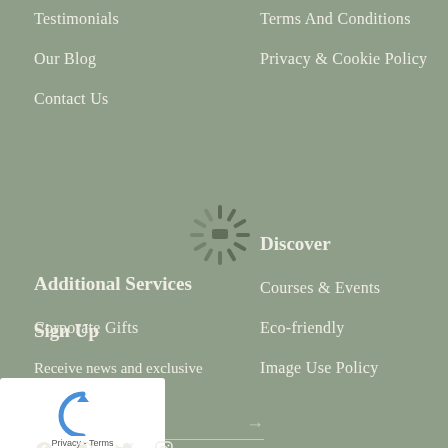Testimonials
Our Blog
Contact Us
Terms And Conditions
Privacy & Cookie Policy
Additional Services
Discover
Corporate Gifts
Courses & Events
Eco-friendly
Image Use Policy
[Figure (illustration): Loading spinner / sun-burst icon overlay in center of page]
Sign Up
Receive news and exclusive
[Figure (other): reCAPTCHA widget with Privacy and Terms links]
EMAIL ADDRESS →
[Figure (other): Social media icons: Facebook, Pinterest, Twitter, Instagram]